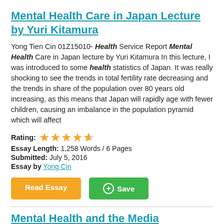Mental Health Care in Japan Lecture by Yuri Kitamura
Yong Tien Cin 01Z15010- Health Service Report Mental Health Care in Japan lecture by Yuri Kitamura In this lecture, I was introduced to some health statistics of Japan. It was really shocking to see the trends in total fertility rate decreasing and the trends in share of the population over 80 years old increasing, as this means that Japan will rapidly age with fewer children, causing an imbalance in the population pyramid which will affect
Rating: ★★★★½
Essay Length: 1,258 Words / 6 Pages
Submitted: July 5, 2016
Essay by Yong Cin
Read Essay  +  Save
Mental Health and the Media